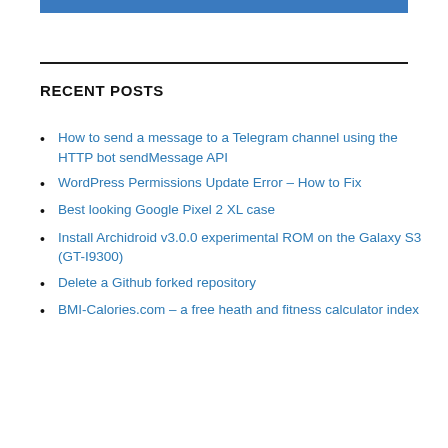[Figure (other): Blue horizontal banner bar at top of page]
RECENT POSTS
How to send a message to a Telegram channel using the HTTP bot sendMessage API
WordPress Permissions Update Error – How to Fix
Best looking Google Pixel 2 XL case
Install Archidroid v3.0.0 experimental ROM on the Galaxy S3 (GT-I9300)
Delete a Github forked repository
BMI-Calories.com – a free heath and fitness calculator index